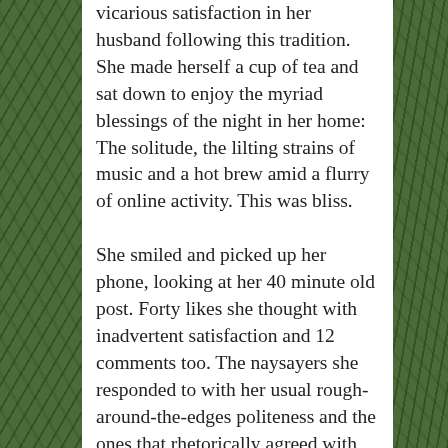vicarious satisfaction in her husband following this tradition. She made herself a cup of tea and sat down to enjoy the myriad blessings of the night in her home: The solitude, the lilting strains of music and a hot brew amid a flurry of online activity. This was bliss.

She smiled and picked up her phone, looking at her 40 minute old post. Forty likes she thought with inadvertent satisfaction and 12 comments too. The naysayers she responded to with her usual rough-around-the-edges politeness and the ones that rhetorically agreed with her, were rewarded with hugs and kisses. Then she saw Najma's comment endorsing the upcoming Aurat March. All the anger and bitterness of the day came crashing down on her again, ruining her calm and stillness. Tabassum lashed out with the uninhibited abandon of a shrew on an her annual venge quest. That night she
[Figure (photo): Green foliage/leaves visible on the left and right sides of the page, framing the white text panel in the center.]